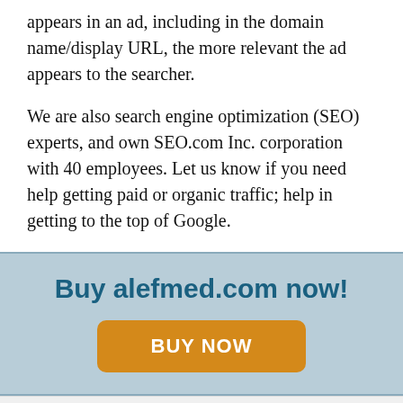appears in an ad, including in the domain name/display URL, the more relevant the ad appears to the searcher.
We are also search engine optimization (SEO) experts, and own SEO.com Inc. corporation with 40 employees. Let us know if you need help getting paid or organic traffic; help in getting to the top of Google.
Buy alefmed.com now!
BUY NOW
Chat now